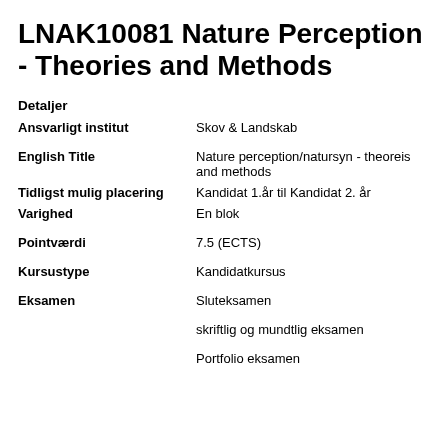LNAK10081 Nature Perception - Theories and Methods
Detaljer
| Ansvarligt institut | Skov & Landskab |
| English Title | Nature perception/natursyn - theoreis and methods |
| Tidligst mulig placering | Kandidat 1.år til Kandidat 2. år |
| Varighed | En blok |
| Pointværdi | 7.5 (ECTS) |
| Kursustype | Kandidatkursus |
| Eksamen | Sluteksamen |
|  | skriftlig og mundtlig eksamen |
|  | Portfolio eksamen |